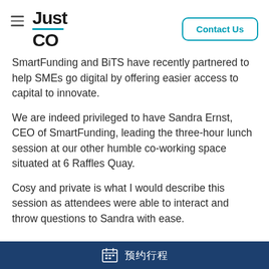JustCo — Contact Us
SmartFunding and BiTS have recently partnered to help SMEs go digital by offering easier access to capital to innovate.
We are indeed privileged to have Sandra Ernst, CEO of SmartFunding, leading the three-hour lunch session at our other humble co-working space situated at 6 Raffles Quay.
Cosy and private is what I would describe this session as attendees were able to interact and throw questions to Sandra with ease.
预约行程